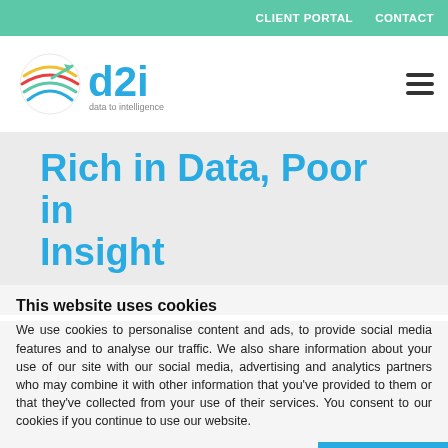CLIENT PORTAL   CONTACT
[Figure (logo): d2i data to intelligence logo with colorful globe/arrow graphic]
Rich in Data, Poor in Insight
This website uses cookies
We use cookies to personalise content and ads, to provide social media features and to analyse our traffic. We also share information about your use of our site with our social media, advertising and analytics partners who may combine it with other information that you've provided to them or that they've collected from your use of their services. You consent to our cookies if you continue to use our website.
OK
Necessary   Preferences   Statistics   Marketing   Show details